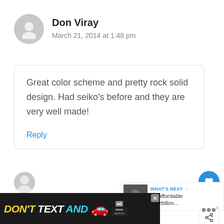Don Viray
March 21, 2014 at 1:48 pm
Great color scheme and pretty rock solid design. Had seiko’s before and they are very well made!
Reply
1
WHAT’S NEXT → 15 Affordable Tourbillon...
[Figure (infographic): DON'T TEXT AND [car emoji] advertisement banner with ad and NHTSA logos]
[Figure (photo): Partial avatar circle of next commenter]